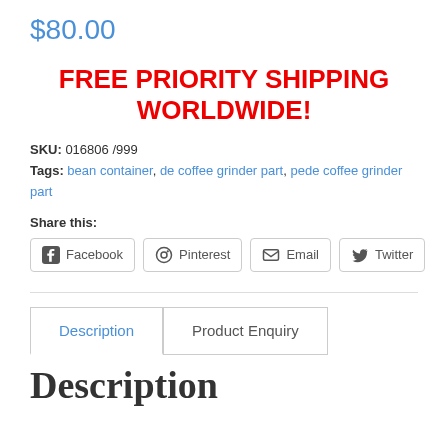$80.00
FREE PRIORITY SHIPPING WORLDWIDE!
SKU: 016806 /999
Tags: bean container, de coffee grinder part, pede coffee grinder part
Share this:
Facebook  Pinterest  Email  Twitter
Description  Product Enquiry
Description